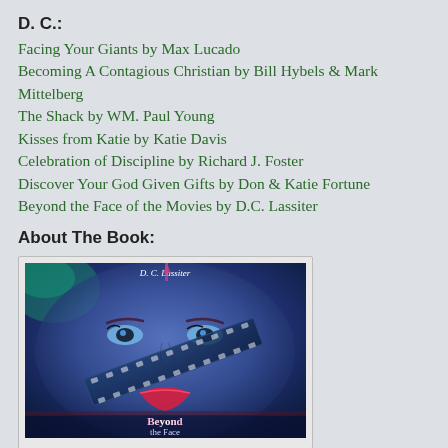D. C.:
Facing Your Giants by Max Lucado
Becoming A Contagious Christian by Bill Hybels & Mark Mittelberg
The Shack by WM. Paul Young
Kisses from Katie by Katie Davis
Celebration of Discipline by Richard J. Foster
Discover Your God Given Gifts by Don & Katie Fortune
Beyond the Face of the Movies by D.C. Lassiter
About The Book:
[Figure (illustration): Book cover of 'Beyond the Face of the Movies' by D.C. Lassiter, featuring a woman's face with film reels and blue/purple tones, with title text at the bottom.]